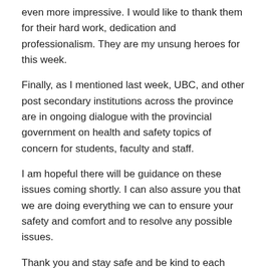even more impressive. I would like to thank them for their hard work, dedication and professionalism. They are my unsung heroes for this week.
Finally, as I mentioned last week, UBC, and other post secondary institutions across the province are in ongoing dialogue with the provincial government on health and safety topics of concern for students, faculty and staff.
I am hopeful there will be guidance on these issues coming shortly. I can also assure you that we are doing everything we can to ensure your safety and comfort and to resolve any possible issues.
Thank you and stay safe and be kind to each other.
Santa J. Ono
President & Vice-Chancellor
Latest Updates
Walking the path of Reconciliation: The Indigenous Stra